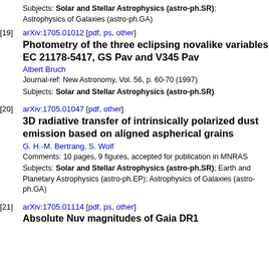Subjects: Solar and Stellar Astrophysics (astro-ph.SR); Astrophysics of Galaxies (astro-ph.GA)
[19] arXiv:1705.01012 [pdf, ps, other]
Photometry of the three eclipsing novalike variables EC 21178-5417, GS Pav and V345 Pav
Albert Bruch
Journal-ref: New Astronomy, Vol. 56, p. 60-70 (1997)
Subjects: Solar and Stellar Astrophysics (astro-ph.SR)
[20] arXiv:1705.01047 [pdf, other]
3D radiative transfer of intrinsically polarized dust emission based on aligned aspherical grains
G. H.-M. Bertrang, S. Wolf
Comments: 10 pages, 9 figures, accepted for publication in MNRAS
Subjects: Solar and Stellar Astrophysics (astro-ph.SR); Earth and Planetary Astrophysics (astro-ph.EP); Astrophysics of Galaxies (astro-ph.GA)
[21] arXiv:1705.01114 [pdf, ps, other]
Absolute Nuv magnitudes of Gaia DR1